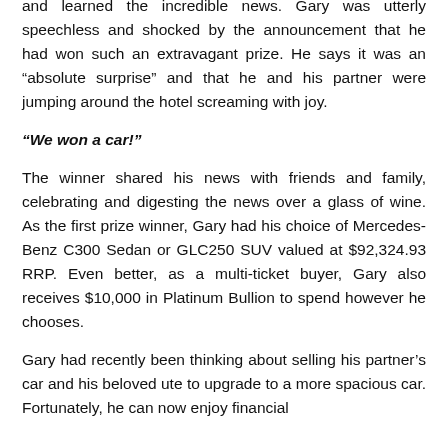and learned the incredible news. Gary was utterly speechless and shocked by the announcement that he had won such an extravagant prize. He says it was an “absolute surprise” and that he and his partner were jumping around the hotel screaming with joy.
“We won a car!”
The winner shared his news with friends and family, celebrating and digesting the news over a glass of wine. As the first prize winner, Gary had his choice of Mercedes-Benz C300 Sedan or GLC250 SUV valued at $92,324.93 RRP. Even better, as a multi-ticket buyer, Gary also receives $10,000 in Platinum Bullion to spend however he chooses.
Gary had recently been thinking about selling his partner’s car and his beloved ute to upgrade to a more spacious car. Fortunately, he can now enjoy financial